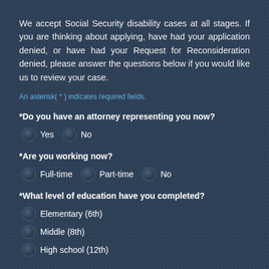We accept Social Security disability cases at all stages. If you are thinking about applying, have had your application denied, or have had your Request for Reconsideration denied, please answer the questions below if you would like us to review your case.
An asterisk( * ) indicates required fields.
*Do you have an attorney representing you now?
Yes
No
*Are you working now?
Full-time
Part-time
No
*What level of education have you completed?
Elementary (6th)
Middle (8th)
High school (12th)